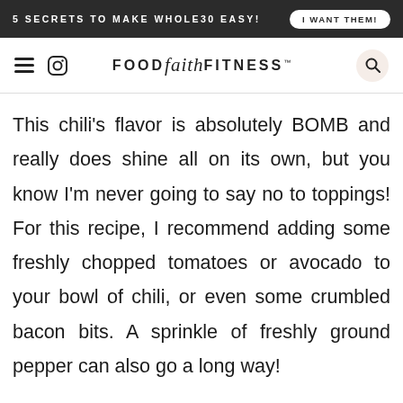5 SECRETS TO MAKE WHOLE30 EASY! | I WANT THEM!
FOOD faith FITNESS
This chili's flavor is absolutely BOMB and really does shine all on its own, but you know I'm never going to say no to toppings! For this recipe, I recommend adding some freshly chopped tomatoes or avocado to your bowl of chili, or even some crumbled bacon bits. A sprinkle of freshly ground pepper can also go a long way!